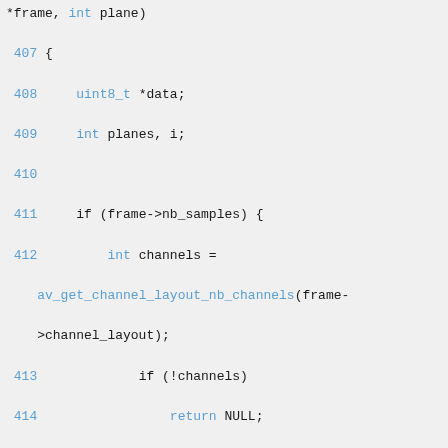[Figure (screenshot): Source code snippet in C showing lines 407-425 of a media processing function, with syntax highlighting (blue for keywords and function names, green for numeric literals, dark for plain code). The code handles audio frame data planes, channel layout, and buffer references.]